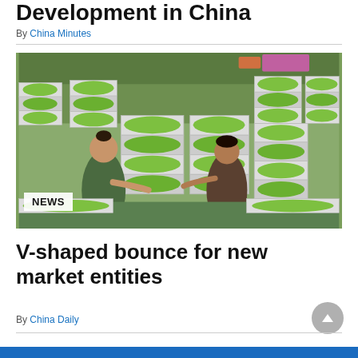Development in China
By China Minutes
[Figure (photo): Two workers handling crates of green fruit (grapes/limes) stacked in a large market or warehouse. The crates are white plastic, filled with small green round fruits. Background shows more crates and people.]
NEWS
V-shaped bounce for new market entities
By China Daily